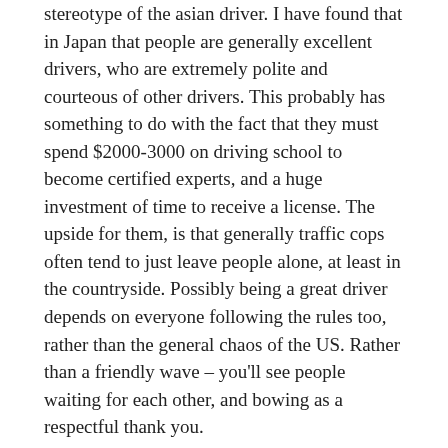stereotype of the asian driver. I have found that in Japan that people are generally excellent drivers, who are extremely polite and courteous of other drivers. This probably has something to do with the fact that they must spend $2000-3000 on driving school to become certified experts, and a huge investment of time to receive a license. The upside for them, is that generally traffic cops often tend to just leave people alone, at least in the countryside. Possibly being a great driver depends on everyone following the rules too, rather than the general chaos of the US. Rather than a friendly wave – you'll see people waiting for each other, and bowing as a respectful thank you.
4. Straightforwardness
This extends into a number of areas, from the language itself to confrontations with others. Approaching something very directly can commonly